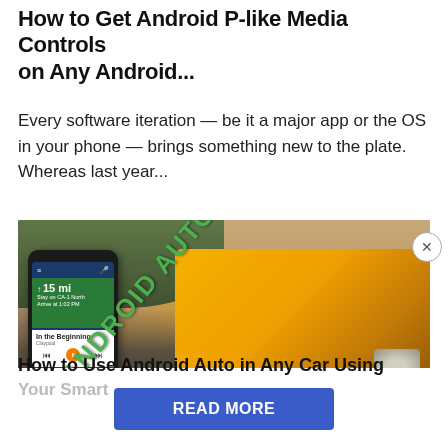How to Get Android P-like Media Controls on Any Android...
Every software iteration — be it a major app or the OS in your phone — brings something new to the plate. Whereas last year...
[Figure (photo): Photo of an Android phone showing Android Auto interface with navigation (15 mi, Stay on CA-1 North), media controls (In the Beginning, Claypool), and messaging (Jonathan Lee, New Message), overlaid on a street scene with a yellow taxi cab and city background. Diagonal green text reads 'ANDROID AUTO'.]
How to Use Android Auto in Any Car Using Your Smart...
READ MORE
on Newz Online